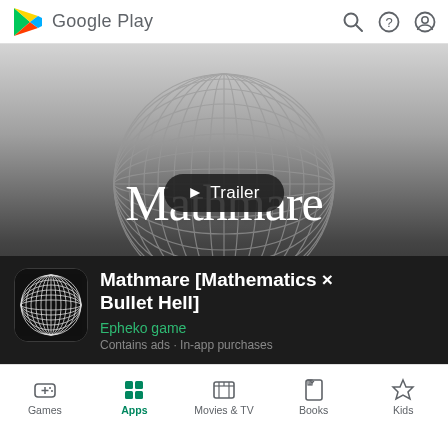Google Play
[Figure (screenshot): Google Play store listing page for Mathmare app showing a trailer thumbnail with a geometric sphere wireframe graphic and the text 'Mathmare' overlaid, with a Trailer play button overlay]
Mathmare [Mathematics × Bullet Hell]
Epheko game
Contains ads · In-app purchases
Games  Apps  Movies & TV  Books  Kids